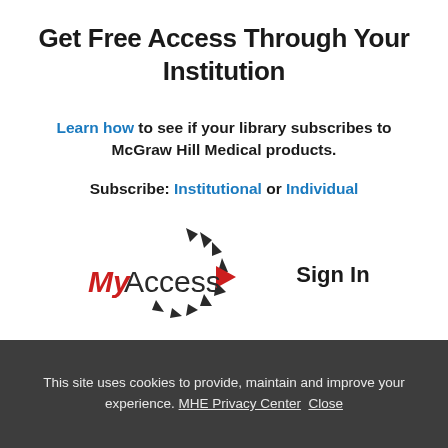Get Free Access Through Your Institution
Learn how to see if your library subscribes to McGraw Hill Medical products.
Subscribe: Institutional or Individual
[Figure (logo): MyAccess logo with circular arrow motif and red play button arrow, followed by Sign In text]
This site uses cookies to provide, maintain and improve your experience. MHE Privacy Center Close